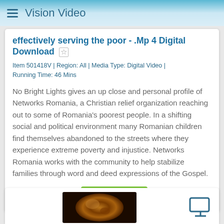Vision Video
effectively serving the poor - .Mp 4 Digital Download ☆
Item 501418V | Region: All | Media Type: Digital Video | Running Time: 46 Mins
No Bright Lights gives an up close and personal profile of Networks Romania, a Christian relief organization reaching out to some of Romania's poorest people. In a shifting social and political environment many Romanian children find themselves abandoned to the streets where they experience extreme poverty and injustice. Networks Romania works with the community to help stabilize families through word and deed expressions of the Gospel.
$2.99  $14.99  BUY NOW →
[Figure (photo): Partial second product card with a photo thumbnail (orange/dark tones, globe-like image) and a monitor icon on the right]